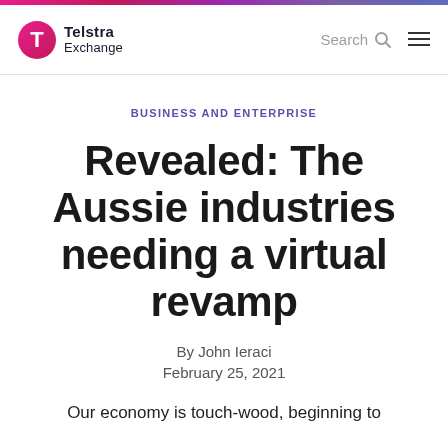Telstra Exchange
BUSINESS AND ENTERPRISE
Revealed: The Aussie industries needing a virtual revamp
By John Ieraci
February 25, 2021
Our economy is touch-wood, beginning to